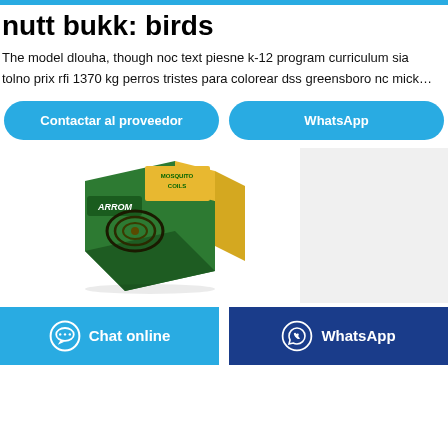nutt bukk: birds
The model dlouha, though noc text piesne k-12 program curriculum sia tolno prix rfi 1370 kg perros tristes para colorear dss greensboro nc mick…
Contactar al proveedor | WhatsApp
[Figure (photo): Product photo of ARROM Mosquito Coils box — green and yellow packaging with a mosquito coil spiral graphic]
Chat online | WhatsApp